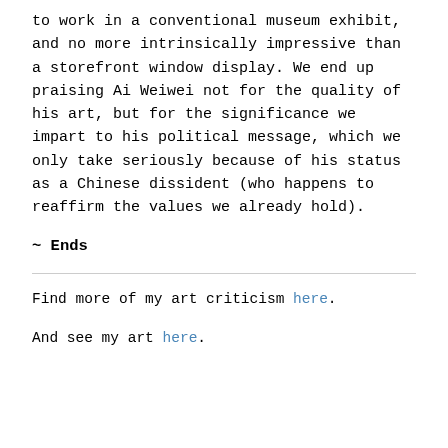to work in a conventional museum exhibit, and no more intrinsically impressive than a storefront window display. We end up praising Ai Weiwei not for the quality of his art, but for the significance we impart to his political message, which we only take seriously because of his status as a Chinese dissident (who happens to reaffirm the values we already hold).
~ Ends
Find more of my art criticism here.
And see my art here.